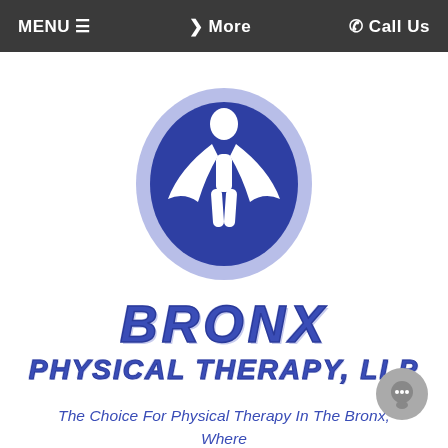MENU ≡   ❯ More   ☎ Call Us
[Figure (logo): Bronx Physical Therapy LLP logo: a blue oval shape containing a stylized human figure with hands reaching forward, surrounded by a light blue/lavender oval border]
BRONX PHYSICAL THERAPY, LLP
The Choice For Physical Therapy In The Bronx, Where